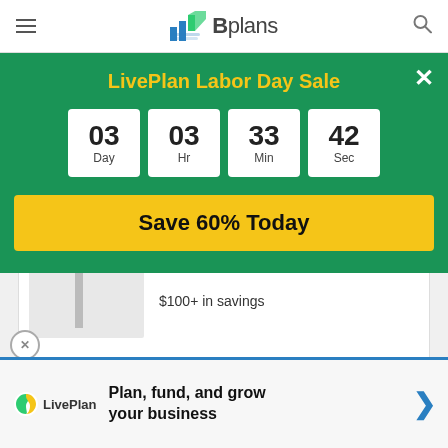Bplans
LivePlan Labor Day Sale
03 Day  03 Hr  33 Min  42 Sec
Save 60% Today
Growing Businesses
Browse Offers
$100+ in savings
Plan, fund, and grow your business